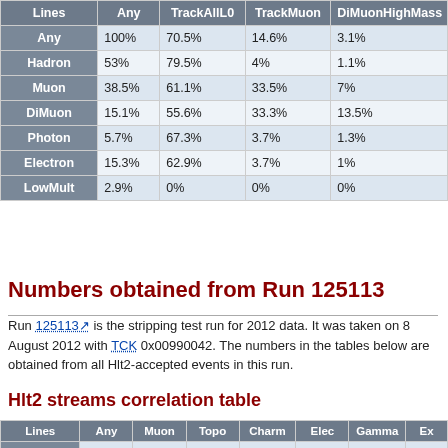| Lines | Any | TrackAllL0 | TrackMuon | DiMuonHighMass |
| --- | --- | --- | --- | --- |
| Any | 100% | 70.5% | 14.6% | 3.1% |
| Hadron | 53% | 79.5% | 4% | 1.1% |
| Muon | 38.5% | 61.1% | 33.5% | 7% |
| DiMuon | 15.1% | 55.6% | 33.3% | 13.5% |
| Photon | 5.7% | 67.3% | 3.7% | 1.3% |
| Electron | 15.3% | 62.9% | 3.7% | 1% |
| LowMult | 2.9% | 0% | 0% | 0% |
Numbers obtained from Run 125113
Run 125113 is the stripping test run for 2012 data. It was taken on 8 August 2012 with TCK 0x00990042. The numbers in the tables below are obtained from all Hlt2-accepted events in this run.
Hlt2 streams correlation table
| Lines | Any | Muon | Topo | Charm | Elec | Gamma | Ex… |
| --- | --- | --- | --- | --- | --- | --- | --- |
| Muon | 29.5% |  | 29.5% | 9.6% | 12.4% | 6.4% | 7% |